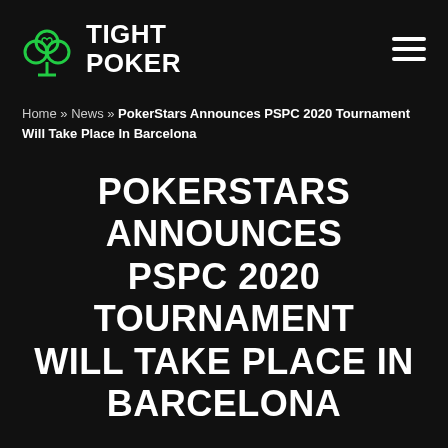TIGHT POKER
Home » News » PokerStars Announces PSPC 2020 Tournament Will Take Place In Barcelona
POKERSTARS ANNOUNCES PSPC 2020 TOURNAMENT WILL TAKE PLACE IN BARCELONA
By Tight Poker Staff
Updated May 04, 2022